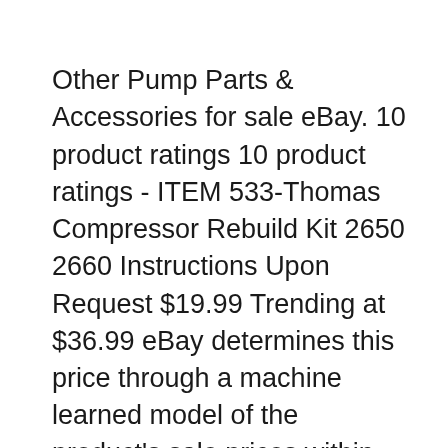Other Pump Parts & Accessories for sale eBay. 10 product ratings 10 product ratings - ITEM 533-Thomas Compressor Rebuild Kit 2650 2660 Instructions Upon Request $19.99 Trending at $36.99 eBay determines this price through a machine learned model of the product's sale prices within the last 90 days. 10 product ratings 10 product ratings - ITEM 533-Thomas Compressor Rebuild Kit 2650 2660 Instructions Upon Request $19.99 Trending at $36.99 eBay determines this price through a machine learned model of the product's sale prices within the last 90 days..